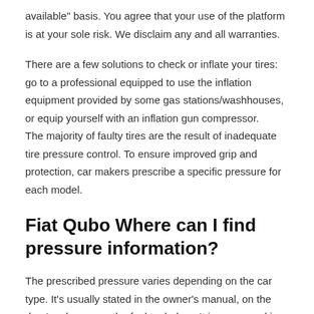available" basis. You agree that your use of the platform is at your sole risk. We disclaim any and all warranties.
There are a few solutions to check or inflate your tires: go to a professional equipped to use the inflation equipment provided by some gas stations/washhouses, or equip yourself with an inflation gun compressor.
The majority of faulty tires are the result of inadequate tire pressure control. To ensure improved grip and protection, car makers prescribe a specific pressure for each model.
Fiat Qubo Where can I find pressure information?
The prescribed pressure varies depending on the car type. It’s usually stated in the owner’s manual, on the door’s edge, or on the fuel tank door. It is expressed in the form of two numbers, in bar units, usually about 2. The first number represents the front tire